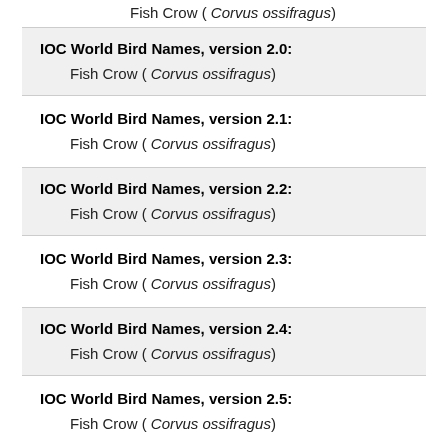Fish Crow ( Corvus ossifragus)
IOC World Bird Names, version 2.0:
Fish Crow ( Corvus ossifragus)
IOC World Bird Names, version 2.1:
Fish Crow ( Corvus ossifragus)
IOC World Bird Names, version 2.2:
Fish Crow ( Corvus ossifragus)
IOC World Bird Names, version 2.3:
Fish Crow ( Corvus ossifragus)
IOC World Bird Names, version 2.4:
Fish Crow ( Corvus ossifragus)
IOC World Bird Names, version 2.5:
Fish Crow ( Corvus ossifragus)